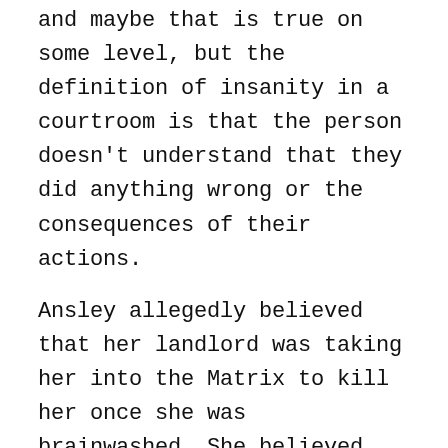and maybe that is true on some level, but the definition of insanity in a courtroom is that the person doesn't understand that they did anything wrong or the consequences of their actions.

Ansley allegedly believed that her landlord was taking her into the Matrix to kill her once she was brainwashed. She believed that she was in the Matrix with her landlord when she shot and killed her, and committing crimes in the Matrix is perfectly acceptable because it's just a computer simulation. Instead of avoiding the crazy Matrix story, Ansley's defense attorney decided to run with it and won the insanity case without a hitch.